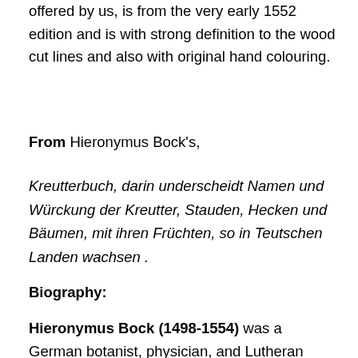offered by us, is from the very early 1552 edition and is with strong definition to the wood cut lines and also with original hand colouring.
From Hieronymus Bock's,
Kreutterbuch, darin underscheidt Namen und Würckung der Kreutter, Stauden, Hecken und Bäumen, mit ihren Früchten, so in Teutschen Landen wachsen .
Biography:
Hieronymus Bock (1498-1554) was a German botanist, physician, and Lutheran minister who began the transition from medieval botany to the modern scientific world view by arranging plants by their relation or resemblance. In 1519 he inscribed at the